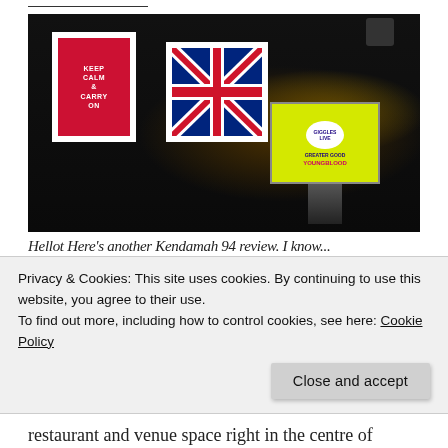[Figure (photo): Dark interior of a bar or comedy venue with two framed pictures on the wall (a red Keep Calm style poster and a Union Jack portrait), a yellow Giggles Live screen/display on a stand, and overhead speakers.]
Hellot Here's another Kendamah 94 review. I know...
Privacy & Cookies: This site uses cookies. By continuing to use this website, you agree to their use.
To find out more, including how to control cookies, see here: Cookie Policy
restaurant and venue space right in the centre of